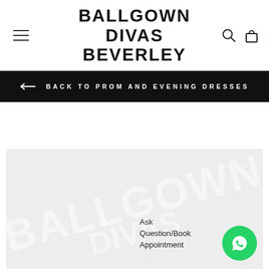BALLGOWN DIVAS BEVERLEY
← BACK TO PROM AND EVENING DRESSES
[Figure (photo): Product image area with watermark/logo overlay on light grey background, with Ask Question/Book Appointment text and WhatsApp button]